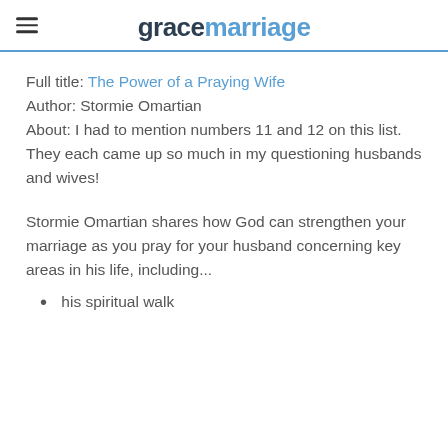gracemarriage
Full title: The Power of a Praying Wife
Author: Stormie Omartian
About: I had to mention numbers 11 and 12 on this list. They each came up so much in my questioning husbands and wives!
Stormie Omartian shares how God can strengthen your marriage as you pray for your husband concerning key areas in his life, including...
his spiritual walk